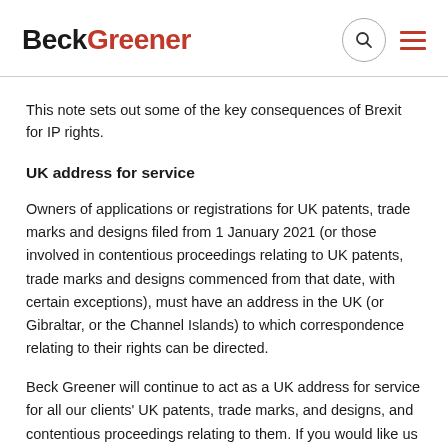BeckGreener
This note sets out some of the key consequences of Brexit for IP rights.
UK address for service
Owners of applications or registrations for UK patents, trade marks and designs filed from 1 January 2021 (or those involved in contentious proceedings relating to UK patents, trade marks and designs commenced from that date, with certain exceptions), must have an address in the UK (or Gibraltar, or the Channel Islands) to which correspondence relating to their rights can be directed.
Beck Greener will continue to act as a UK address for service for all our clients' UK patents, trade marks, and designs, and contentious proceedings relating to them.  If you would like us to